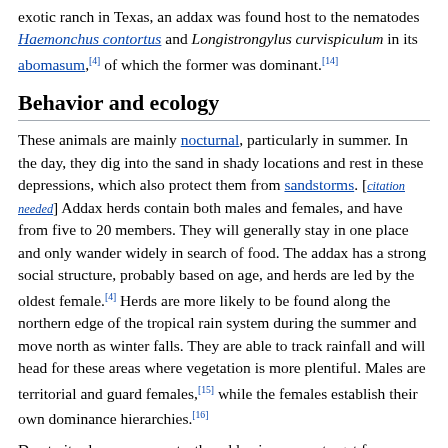exotic ranch in Texas, an addax was found host to the nematodes Haemonchus contortus and Longistrongylus curvispiculum in its abomasum,[4] of which the former was dominant.[14]
Behavior and ecology
These animals are mainly nocturnal, particularly in summer. In the day, they dig into the sand in shady locations and rest in these depressions, which also protect them from sandstorms. [citation needed] Addax herds contain both males and females, and have from five to 20 members. They will generally stay in one place and only wander widely in search of food. The addax has a strong social structure, probably based on age, and herds are led by the oldest female.[4] Herds are more likely to be found along the northern edge of the tropical rain system during the summer and move north as winter falls. They are able to track rainfall and will head for these areas where vegetation is more plentiful. Males are territorial and guard females,[15] while the females establish their own dominance hierarchies.[16]
Due to its slow movements, the addax is an easy target for predators such as humans, lions, leopards, cheetahs and African wild dogs. Caracals, servals and hyenas attack calves. The addax is